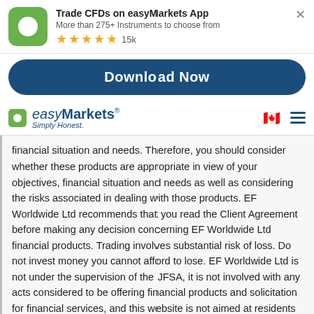[Figure (screenshot): easyMarkets app banner with green icon, app title, subtitle, star rating and close button]
Trade CFDs on easyMarkets App
More than 275+ Instruments to choose from
★★★★☆ 15k
[Figure (screenshot): Dark blue Download Now button]
[Figure (logo): easyMarkets logo with green square icon, brand name and Simply Honest. tagline, Canadian flag icon and hamburger menu]
financial situation and needs. Therefore, you should consider whether these products are appropriate in view of your objectives, financial situation and needs as well as considering the risks associated in dealing with those products. EF Worldwide Ltd recommends that you read the Client Agreement before making any decision concerning EF Worldwide Ltd financial products. Trading involves substantial risk of loss. Do not invest money you cannot afford to lose. EF Worldwide Ltd is not under the supervision of the JFSA, it is not involved with any acts considered to be offering financial products and solicitation for financial services, and this website is not aimed at residents in Japan. EF Worldwide Ltd (British Virgin Islands Financial Services Commission - License Number SIBA/L/20/1135). Our group of companies through its subsidiaries licensed by the Cyprus Securities & Exchange Commission "CySEC (Easy Forex Trading Ltd - License Number 079/07), which has been